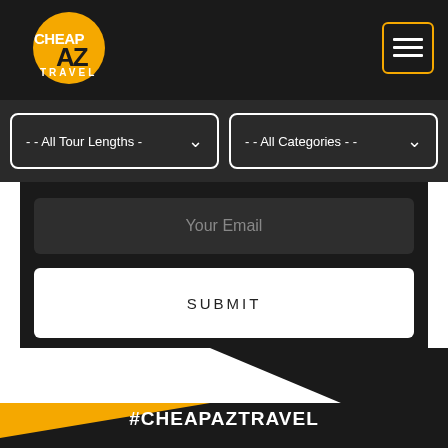[Figure (logo): CheapAZ Travel logo: orange circle with CHEAP and AZ text, TRAVEL in white letters below]
[Figure (screenshot): Hamburger menu icon button with orange border on dark background]
- - All Tour Lengths -
- - All Categories - -
Your Email
SUBMIT
#CHEAPAZTRAVEL